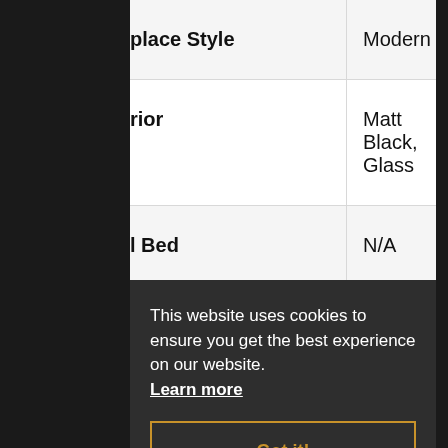| Attribute | Value |
| --- | --- |
| place Style | Modern |
| rior | Matt Black, Glass |
| l Bed | N/A |
| trol | N/A |
| me | N/A |
This website uses cookies to ensure you get the best experience on our website.
Learn more
Got it!